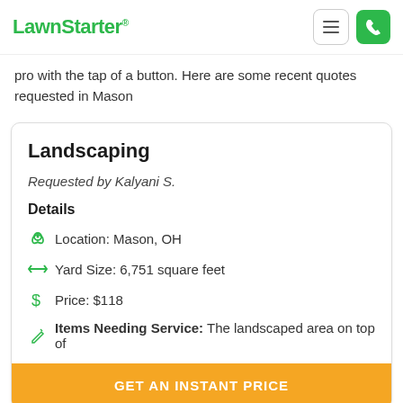LawnStarter
pro with the tap of a button. Here are some recent quotes requested in Mason
Landscaping
Requested by Kalyani S.
Details
Location: Mason, OH
Yard Size: 6,751 square feet
Price: $118
Items Needing Service: The landscaped area on top of
GET AN INSTANT PRICE